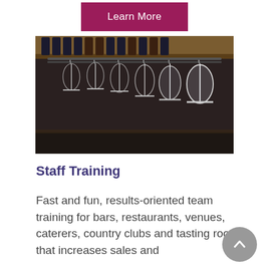Learn More
[Figure (photo): Bar shelf with hanging wine glasses upside down and bottles on a wooden shelf rack]
Staff Training
Fast and fun, results-oriented team training for bars, restaurants, venues, caterers, country clubs and tasting rooms that increases sales and